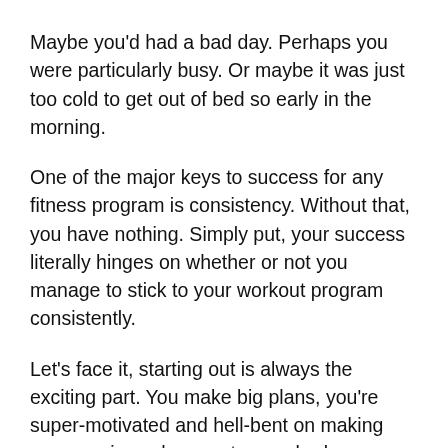Maybe you'd had a bad day. Perhaps you were particularly busy. Or maybe it was just too cold to get out of bed so early in the morning.
One of the major keys to success for any fitness program is consistency. Without that, you have nothing. Simply put, your success literally hinges on whether or not you manage to stick to your workout program consistently.
Let's face it, starting out is always the exciting part. You make big plans, you're super-motivated and hell-bent on making some serious changes to your body.
But then as time goes on, the cracks start to appear. Slowly your motivation starts to fray. A skipped workout here and there, then a few more. Before you